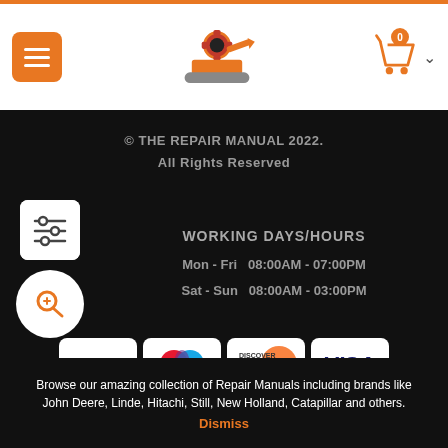The Repair Manual - Navigation bar with menu button, logo, cart icon
© THE REPAIR MANUAL 2022. All Rights Reserved
WORKING DAYS/HOURS
Mon - Fri  08:00AM - 07:00PM
Sat - Sun  08:00AM - 03:00PM
[Figure (logo): Payment method logos: PayPal, Maestro, Discover Network, Visa]
[Figure (logo): porto logo in dark grey section]
Browse our amazing collection of Repair Manuals including brands like John Deere, Linde, Hitachi, Still, New Holland, Catapillar and others.
Dismiss